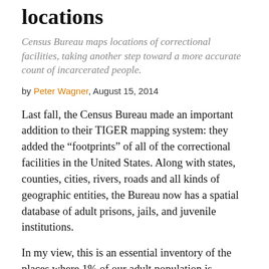locations
Census Bureau maps locations of correctional facilities, taking another step toward a more accurate count of incarcerated people.
by Peter Wagner, August 15, 2014
Last fall, the Census Bureau made an important addition to their TIGER mapping system: they added the “footprints” of all of the correctional facilities in the United States. Along with states, counties, cities, rivers, roads and all kinds of geographic entities, the Bureau now has a spatial database of adult prisons, jails, and juvenile institutions.
In my view, this is an essential inventory of the places where 1% of our adult population is currently confined and it should be used by the Bureau to if it can help serve